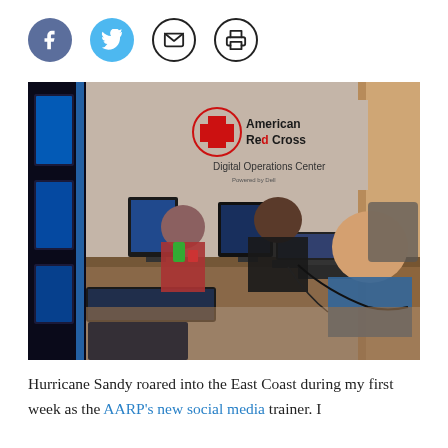[Figure (other): Row of four social media / sharing icon circles: Facebook (blue with f), Twitter (cyan with bird), Email (black outline with envelope), Print (black outline with printer)]
[Figure (photo): Photo of the American Red Cross Digital Operations Center powered by Dell. Several people sit at a long desk working on laptops and computers. A large Red Cross logo and 'American Red Cross Digital Operations Center Powered by Dell' sign is on the wall behind them. Blue LED-lit monitors are visible on the left wall.]
Hurricane Sandy roared into the East Coast during my first week as the AARP's new social media trainer. I